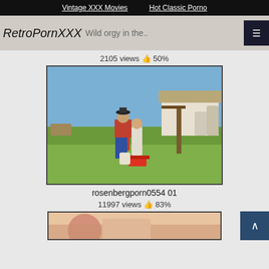Vintage XXX Movies   Hot Classic Porno
RetroPornXXX
Wild orgy in the..
2105 views 👍 50%
[Figure (photo): Outdoor scene showing two people standing on a lawn near a barn-style building, vintage video still.]
rosenbergporn0554 01
11997 views 👍 83%
[Figure (photo): Partial bottom thumbnail of another video, showing cartoon/illustrated style content.]